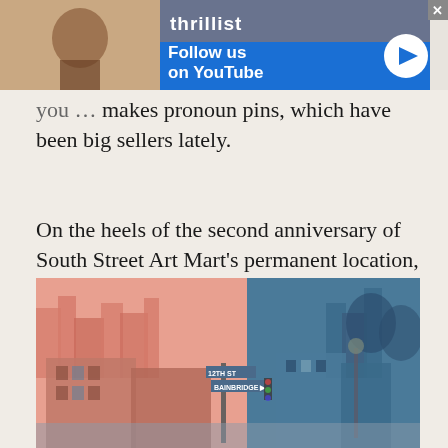[Figure (screenshot): Thrillist advertisement banner - Follow us on YouTube with blue background and play button]
you ... makes pronoun pins, which have been big sellers lately.
On the heels of the second anniversary of South Street Art Mart's permanent location, Krecicki and Wiegand share their favorite LGBTQ+ owned and supported businesses in Philly to shop during Pride and beyond.
[Figure (photo): Stylized pink and blue duotone photo of a Philadelphia street corner with brick buildings, street signs for 12th Street, and urban cityscape in background]